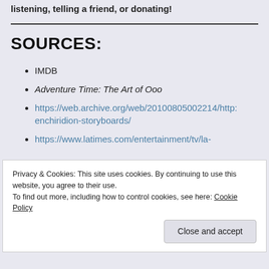listening, telling a friend, or donating!
SOURCES:
IMDB
Adventure Time: The Art of Ooo
https://web.archive.org/web/20100805002214/http:/ enchiridion-storyboards/
https://www.latimes.com/entertainment/tv/la-
Privacy & Cookies: This site uses cookies. By continuing to use this website, you agree to their use. To find out more, including how to control cookies, see here: Cookie Policy
Close and accept